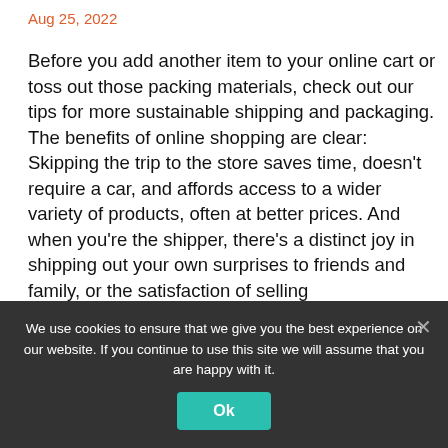Aug 25, 2022
Before you add another item to your online cart or toss out those packing materials, check out our tips for more sustainable shipping and packaging. The benefits of online shopping are clear: Skipping the trip to the store saves time, doesn't require a car, and affords access to a wider variety of products, often at better prices. And when you're the shipper, there's a distinct joy in shipping out your own surprises to friends and family, or the satisfaction of selling
We use cookies to ensure that we give you the best experience on our website. If you continue to use this site we will assume that you are happy with it.